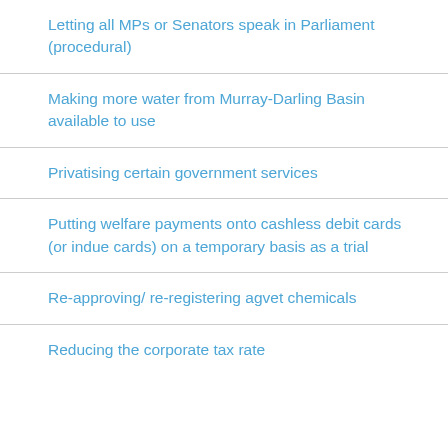Letting all MPs or Senators speak in Parliament (procedural)
Making more water from Murray-Darling Basin available to use
Privatising certain government services
Putting welfare payments onto cashless debit cards (or indue cards) on a temporary basis as a trial
Re-approving/ re-registering agvet chemicals
Reducing the corporate tax rate